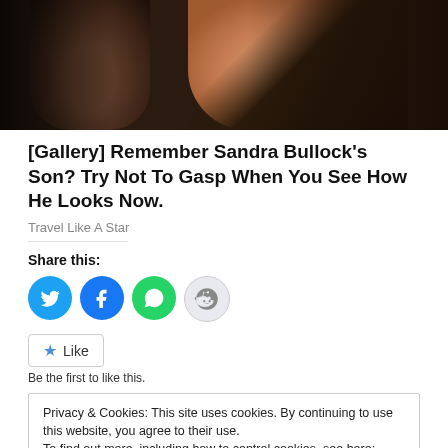[Figure (photo): Close-up photo of two people's faces cropped at top of page]
[Gallery] Remember Sandra Bullock's Son? Try Not To Gasp When You See How He Looks Now.
Travel Like A Star
Share this:
[Figure (infographic): Social share buttons: Twitter, Facebook, WhatsApp, Reddit]
Like
Be the first to like this.
Privacy & Cookies: This site uses cookies. By continuing to use this website, you agree to their use.
To find out more, including how to control cookies, see here: Cookie Policy
Close and accept
September 20, 2011   In: Featured